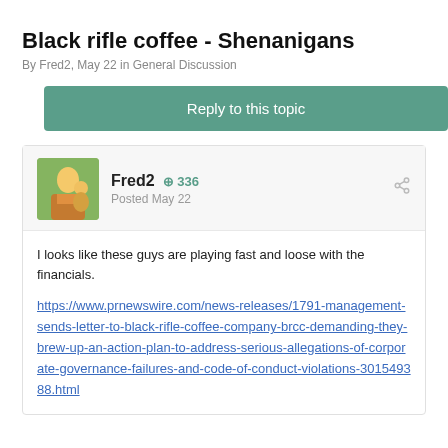Black rifle coffee - Shenanigans
By Fred2, May 22 in General Discussion
Reply to this topic
Fred2  336
Posted May 22
I looks like these guys are playing fast and loose with the financials.
https://www.prnewswire.com/news-releases/1791-management-sends-letter-to-black-rifle-coffee-company-brcc-demanding-they-brew-up-an-action-plan-to-address-serious-allegations-of-corporate-governance-failures-and-code-of-conduct-violations-301549388.html